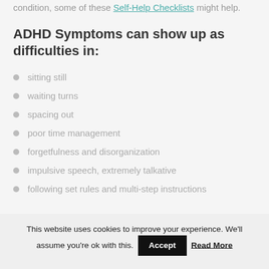condition, some of these Self-Help Checklists might help.
ADHD Symptoms can show up as difficulties in:
sitting still
waiting turns
spacing out
poor time management
forgetfulness and disorganization
impulsive speech, extremely talkative
following set rules and multi-step instructions
This website uses cookies to improve your experience. We'll assume you're ok with this. Accept Read More